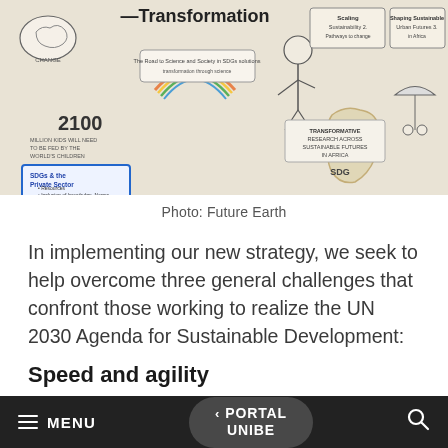[Figure (illustration): A hand-drawn sketch/infographic about Transformation, featuring SDGs, Africa map, Future Earth themes, sustainable development concepts, inno4sd branding, with text elements including '2100', 'SDGs & the Private Sector', 'AFRICA', 'SDG', and various sustainability-related annotations.]
Photo: Future Earth
In implementing our new strategy, we seek to help overcome three general challenges that confront those working to realize the UN 2030 Agenda for Sustainable Development:
Speed and agility
☰ MENU   < PORTAL UNIBE   🔍